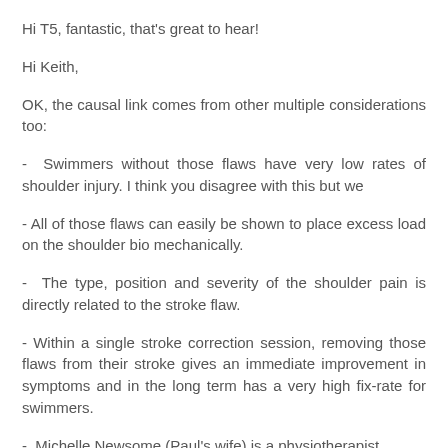Hi T5, fantastic, that's great to hear!
Hi Keith,
OK, the causal link comes from other multiple considerations too:
- Swimmers without those flaws have very low rates of shoulder injury. I think you disagree with this but we
- All of those flaws can easily be shown to place excess load on the shoulder bio mechanically.
- The type, position and severity of the shoulder pain is directly related to the stroke flaw.
- Within a single stroke correction session, removing those flaws from their stroke gives an immediate improvement in symptoms and in the long term has a very high fix-rate for swimmers.
- Michelle Newsome (Paul's wife) is a physiotherapist